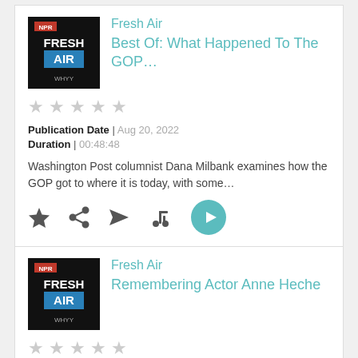[Figure (screenshot): Fresh Air podcast episode card 1: Fresh Air logo, title 'Best Of: What Happened To The GOP...', 5 empty stars, Publication Date Aug 20 2022, Duration 00:48:48, description text, action icons]
Fresh Air
Best Of: What Happened To The GOP...
Publication Date | Aug 20, 2022
Duration | 00:48:48
Washington Post columnist Dana Milbank examines how the GOP got to where it is today, with some...
[Figure (screenshot): Fresh Air podcast episode card 2: Fresh Air logo, title 'Remembering Actor Anne Heche', 5 empty stars]
Fresh Air
Remembering Actor Anne Heche
You don't have any episodes in your queue
Start to listen to an episode